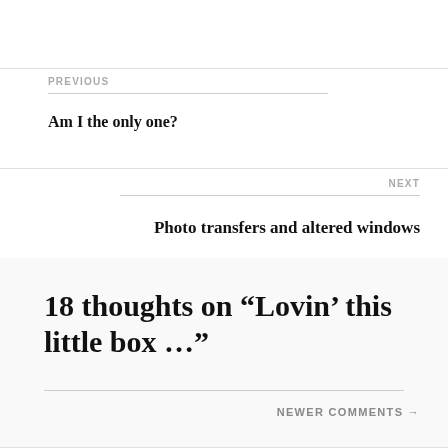PREVIOUS
Am I the only one?
NEXT
Photo transfers and altered windows
18 thoughts on “Lovin’ this little box …”
NEWER COMMENTS →